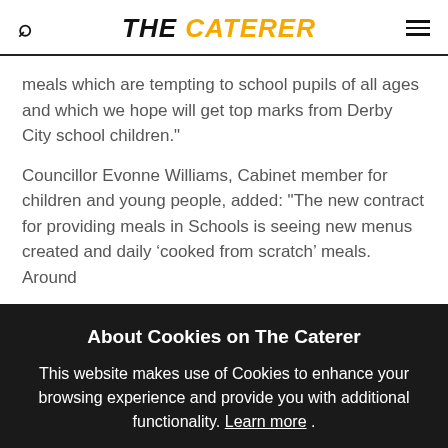THE CATERER
meals which are tempting to school pupils of all ages and which we hope will get top marks from Derby City school children."
Councillor Evonne Williams, Cabinet member for children and young people, added: "The new contract for providing meals in Schools is seeing new menus created and daily ‘cooked from scratch’ meals. Around
About Cookies on The Caterer
This website makes use of Cookies to enhance your browsing experience and provide you with additional functionality. Learn more .
ACCEPT